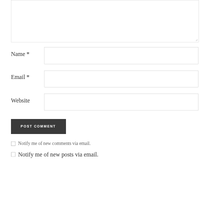[Figure (screenshot): Comment form textarea (partially visible at top), empty resizable text area with resize handle at bottom right]
Name *
[Figure (screenshot): Name input text field, empty, bordered box]
Email *
[Figure (screenshot): Email input text field, empty, bordered box]
Website
[Figure (screenshot): Website input text field, empty, bordered box]
POST COMMENT
Notify me of new comments via email.
Notify me of new posts via email.